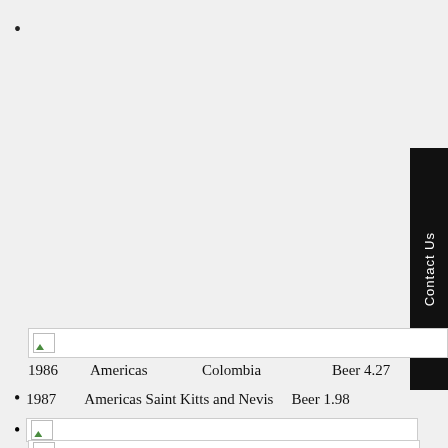•
[Figure (screenshot): Broken image icon in a white bar with border]
1986   Americas   Colombia   Beer 4.27
• 1987   Americas Saint Kitts and Nevis   Beer 1.98
•
[Figure (screenshot): Broken image icon in a white bar with border]
[Figure (screenshot): Broken image icon in a white bar with border]